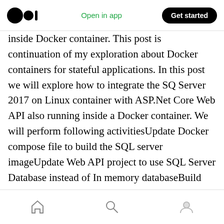Open in app | Get started
inside Docker container. This post is continuation of my exploration about Docker containers for stateful applications. In this post we will explore how to integrate the SQ Server 2017 on Linux container with ASP.Net Core Web API also running inside a Docker container. We will perform following activitiesUpdate Docker compose file to build the SQL server imageUpdate Web API project to use SQL Server Database instead of In memory databaseBuild and run the application containers using Docker compose commandsQuery Data from SQL container using the MVC...
Home | Search | Profile